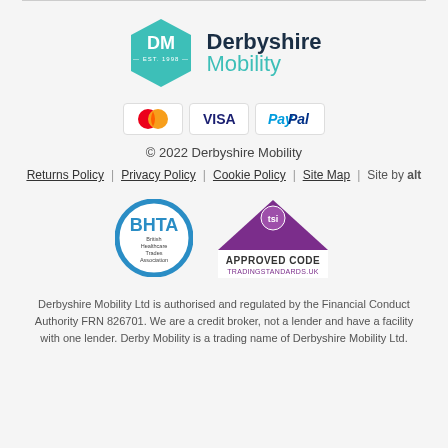[Figure (logo): Derbyshire Mobility logo: teal hexagon with DM text and 'EST. 1998', next to 'Derbyshire Mobility' text in dark navy and teal]
[Figure (logo): Payment method logos: Mastercard, VISA, PayPal]
© 2022 Derbyshire Mobility
Returns Policy | Privacy Policy | Cookie Policy | Site Map | Site by alt
[Figure (logo): BHTA (British Healthcare Trades Association) circular badge logo]
[Figure (logo): TSI Approved Code Trading Standards UK logo with purple triangle]
Derbyshire Mobility Ltd is authorised and regulated by the Financial Conduct Authority FRN 826701. We are a credit broker, not a lender and have a facility with one lender. Derby Mobility is a trading name of Derbyshire Mobility Ltd.